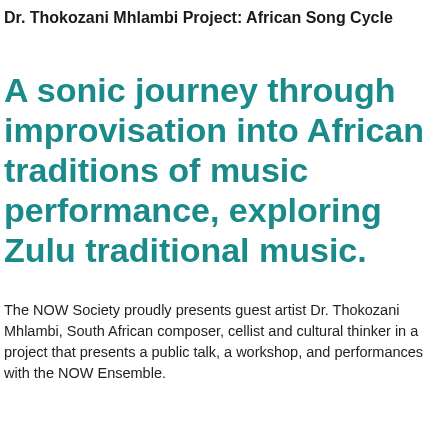Dr. Thokozani Mhlambi Project: African Song Cycle
A sonic journey through improvisation into African traditions of music performance, exploring Zulu traditional music.
The NOW Society proudly presents guest artist Dr. Thokozani Mhlambi, South African composer, cellist and cultural thinker in a project that presents a public talk, a workshop, and performances with the NOW Ensemble.